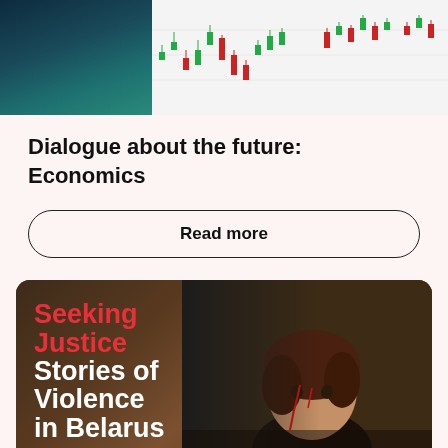[Figure (photo): Top image split: left half shows dark teal/blue abstract background, right half shows a stock market candlestick chart with green and red candles on white background]
Dialogue about the future: Economics
Read more
[Figure (photo): Dark card with red and white bold text overlay on a photo of a person with blood on their face. Text reads 'Seeking Justice Stories of Violence in Belarus' with a 'download the book' link at bottom.]
download the book